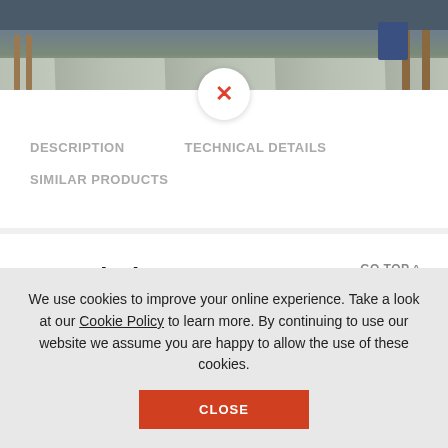[Figure (photo): Top portion of a product page showing a room scene with wooden furniture on a hardwood/light floor background, partially visible.]
DESCRIPTION
TECHNICAL DETAILS
SIMILAR PRODUCTS
Description
100% polyester fabric
White aluminum mechanism
We use cookies to improve your online experience. Take a look at our Cookie Policy to learn more. By continuing to use our website we assume you are happy to allow the use of these cookies.
CLOSE